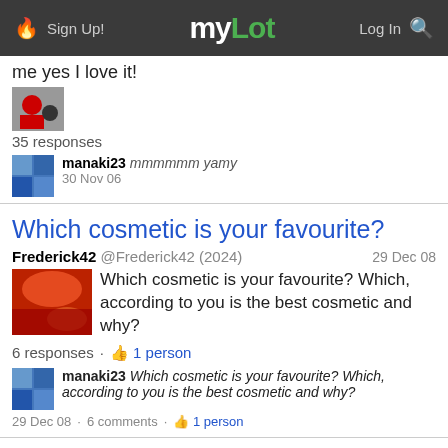Sign Up! myLot Log In
me yes I love it!
35 responses
manaki23 mmmmmm yamy
30 Nov 06
Which cosmetic is your favourite?
Frederick42 @Frederick42 (2024) · 29 Dec 08
Which cosmetic is your favourite? Which, according to you is the best cosmetic and why?
6 responses · 1 person
manaki23 Which cosmetic is your favourite? Which, according to you is the best cosmetic and why?
29 Dec 08 · 6 comments · 1 person
I need advice
xxxmetalettexxx @xxxmetalettexxx (101) · 26 Dec 08
My dream is to travel, but I'm not sure how. I need to